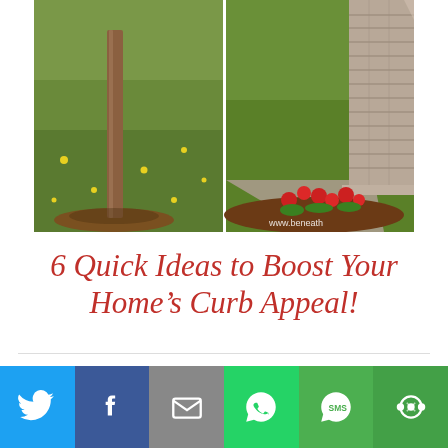[Figure (photo): Before and after side-by-side comparison photos of yard/curb appeal: left shows a plain wooden post in a lawn with dandelions, right shows a stone pillar with red flowers and mulch garden bed next to a pathway, with watermark www.beneath]
6 Quick Ideas to Boost Your Home’s Curb Appeal!
DECOR / TRENDS & INSPIRATION
[Figure (infographic): Social sharing bar with icons: Twitter (blue), Facebook (dark blue), Email/envelope (gray), WhatsApp (green), SMS (green), More/share (green)]